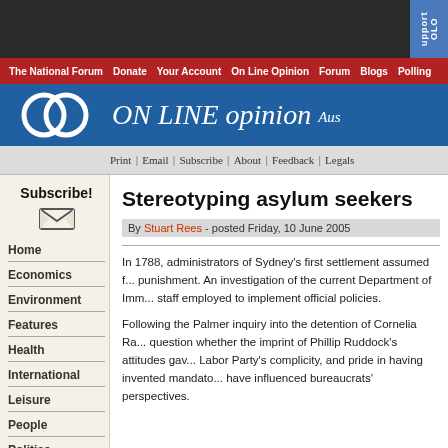[Figure (screenshot): Dark top banner of website with 'Support OLO' tab on right side]
The National Forum | Donate | Your Account | On Line Opinion | Forum | Blogs | Polling
ON LINE opinion Aus
Print | Email | Subscribe | About | Feedback | Legals
Stereotyping asylum seekers
By Stuart Rees - posted Friday, 10 June 2005
In 1788, administrators of Sydney's first settlement assumed f... punishment. An investigation of the current Department of Imm... staff employed to implement official policies.
Following the Palmer inquiry into the detention of Cornelia Ra... question whether the imprint of Phillip Ruddock's attitudes gav... Labor Party's complicity, and pride in having invented mandato... have influenced bureaucrats' perspectives.
Home
Economics
Environment
Features
Health
International
Leisure
People
Politics
Technology